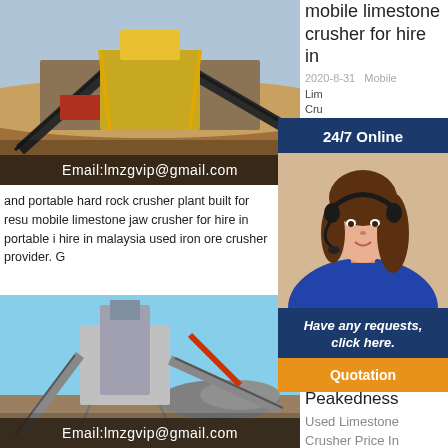[Figure (photo): Mining crusher plant with conveyor belts outdoors, red and yellow machinery on brown dirt ground.]
Email:lmzgvip@gmail.com
mobile limestone crusher for hire in
2020-8-31  Mobile Limestone Crusher items the mobile
[Figure (photo): Chat widget with woman wearing headset, dark navy background, 24/7 Online header, Have any requests click here text, Quotation button.]
and portable hard rock crusher plant built for resu mobile limestone jaw crusher for hire in portable i hire in malaysia used iron ore crusher provider. G
[Figure (photo): Large industrial stone crushing plant with conveyor belts under blue sky.]
Email:lmzgvip@gmail.com
used crusher price in malaysia
Peakedness
Used Limestone Crusher Price In Malaysia Used